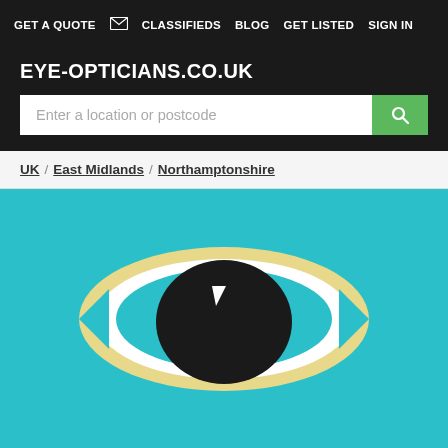GET A QUOTE  [mail icon]  CLASSIFIEDS  BLOG  GET LISTED  SIGN IN
EYE-OPTICIANS.CO.UK
Enter a location or postcode
UK / East Midlands / Northamptonshire
[Figure (logo): Eye-Opticians logo: stylized eye shape in cream/white outline on teal background with 'MD' lettering inside the eye in black]